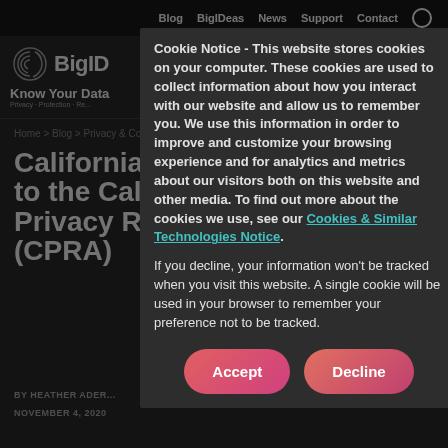Blog  BigIDeas  News  Support  Contact
[Figure (logo): BigID fingerprint logo with text 'BigID' and tagline 'Know Your Data / Privacy · Protection · Re...']
MENU
Home > Blog > Privacy & Compliance > Californians Vote Yes to the California Privacy Rights A...
Californians Vote Yes to the California Privacy Rights Act (CPRA)
BY HEATHER ADER...
NOVEMBER 4, 2020
Cookie Notice - This website stores cookies on your computer. These cookies are used to collect information about how you interact with our website and allow us to remember you. We use this information in order to improve and customize your browsing experience and for analytics and metrics about our visitors both on this website and other media. To find out more about the cookies we use, see our Cookies & Similar Technologies Notice.
If you decline, your information won't be tracked when you visit this website. A single cookie will be used in your browser to remember your preference not to be tracked.
Accept
Decline